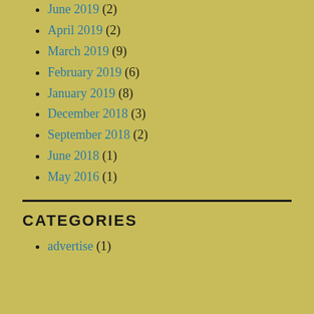June 2019 (2)
April 2019 (2)
March 2019 (9)
February 2019 (6)
January 2019 (8)
December 2018 (3)
September 2018 (2)
June 2018 (1)
May 2016 (1)
CATEGORIES
advertise (1)